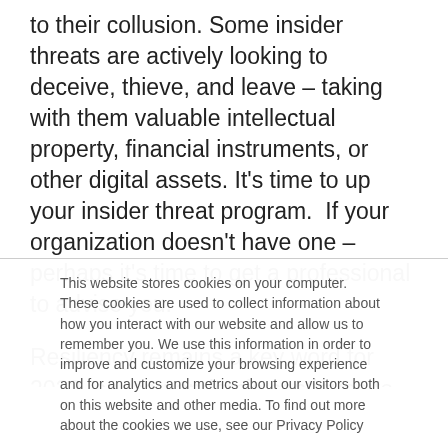to their collusion. Some insider threats are actively looking to deceive, thieve, and leave – taking with them valuable intellectual property, financial instruments, or other digital assets. It's time to up your insider threat program.  If your organization doesn't have one – perhaps it's time to get a professional to advise you.
Resiliency remains a key word for 2022, as the pandemic continues to plague much of the planet, natural disasters are increasing in intensity and
This website stores cookies on your computer. These cookies are used to collect information about how you interact with our website and allow us to remember you. We use this information in order to improve and customize your browsing experience and for analytics and metrics about our visitors both on this website and other media. To find out more about the cookies we use, see our Privacy Policy
Accept